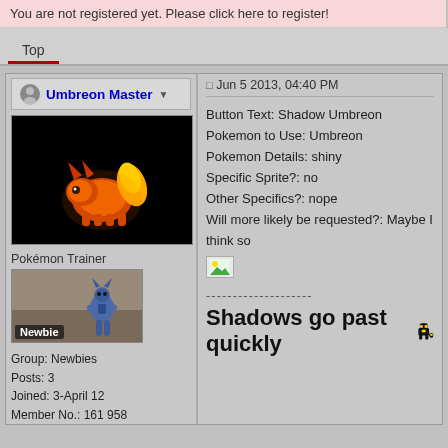You are not registered yet. Please click here to register!
Top
Umbreon Master
Jun 5 2013, 04:40 PM
[Figure (illustration): Pokemon image (glowing Flareon/fire-type) on black background]
Pokémon Trainer
[Figure (illustration): Trainer rank image showing Riolu/Lucario with Newbie label]
Group: Newbies
Posts: 3
Joined: 3-April 12
Member No.: 161 958
My Army
[Figure (illustration): Row of Pokemon sprites: Beedrill, Beautifly, Gengar, Drifblim]
[Figure (illustration): Row of Pokemon sprites: Leafeon, Jolteon]
Button Text: Shadow Umbreon
Pokemon to Use: Umbreon
Pokemon Details: shiny
Specific Sprite?: no
Other Specifics?: nope
Will more likely be requested?: Maybe I think so
--------------------
Shadows go past quickly